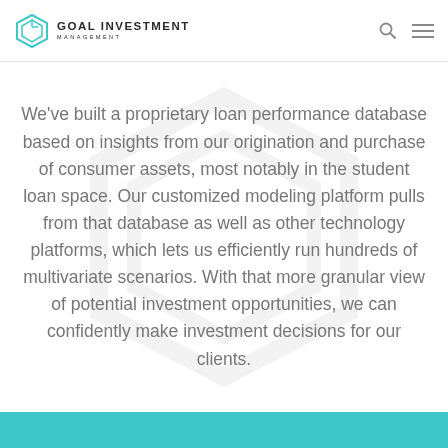GOAL INVESTMENT MANAGEMENT
We've built a proprietary loan performance database based on insights from our origination and purchase of consumer assets, most notably in the student loan space. Our customized modeling platform pulls from that database as well as other technology platforms, which lets us efficiently run hundreds of multivariate scenarios. With that more granular view of potential investment opportunities, we can confidently make investment decisions for our clients.